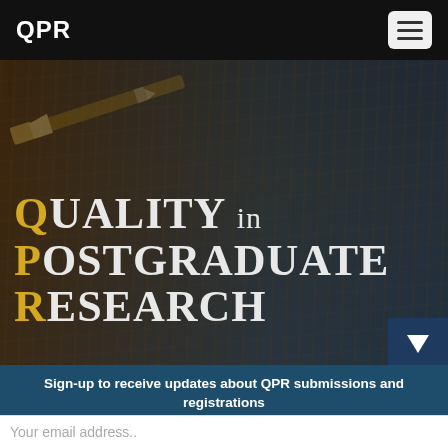QPR
[Figure (photo): Dark background photo of pencils and desk surface with overlay text 'Quality in Postgraduate Research' in large serif font with gold and white lettering]
Sign-up to receive updates about QPR submissions and registrations
Your email address..
Subscribe